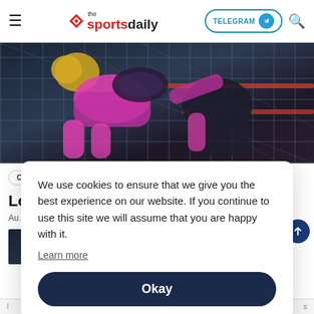the sportsdaily — TELEGRAM — Search
[Figure (photo): WWE wrestling match photo showing two wrestlers, one in pink gear, inside a wrestling ring with ropes visible in background]
COMBAT
FROM THE TOP ROPE
UPDATES
WWE
Looking Back At SummerSlam 1994
Au...
We use cookies to ensure that we give you the best experience on our website. If you continue to use this site we will assume that you are happy with it.
Learn more
Okay